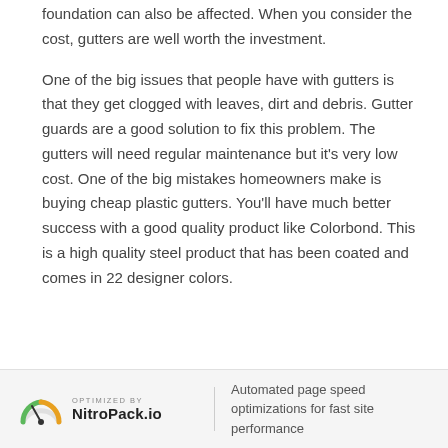foundation can also be affected. When you consider the cost, gutters are well worth the investment.
One of the big issues that people have with gutters is that they get clogged with leaves, dirt and debris. Gutter guards are a good solution to fix this problem. The gutters will need regular maintenance but it’s very low cost. One of the big mistakes homeowners make is buying cheap plastic gutters. You’ll have much better success with a good quality product like Colorbond. This is a high quality steel product that has been coated and comes in 22 designer colors.
[Figure (logo): NitroPack.io logo with arc/speedometer graphic and 'OPTIMIZED BY' text above brand name]
Automated page speed optimizations for fast site performance